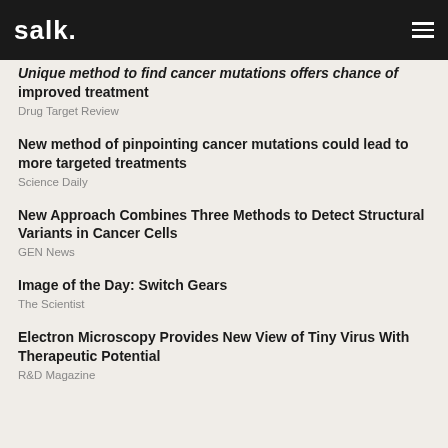salk.
Unique method to find cancer mutations offers chance of improved treatment
Drug Target Review
New method of pinpointing cancer mutations could lead to more targeted treatments
Science Daily
New Approach Combines Three Methods to Detect Structural Variants in Cancer Cells
GEN News
Image of the Day: Switch Gears
The Scientist
Electron Microscopy Provides New View of Tiny Virus With Therapeutic Potential
R&D Magazine